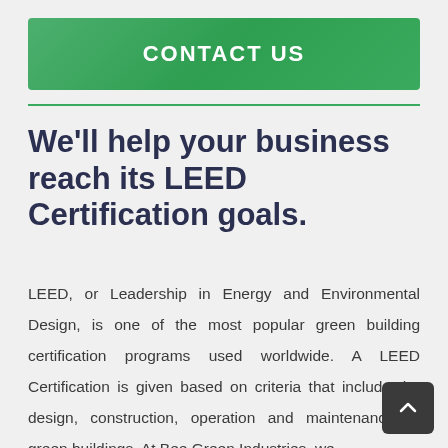CONTACT US
We'll help your business reach its LEED Certification goals.
LEED, or Leadership in Energy and Environmental Design, is one of the most popular green building certification programs used worldwide. A LEED Certification is given based on criteria that include the design, construction, operation and maintenance of green buildings. At Bee Green Industries, we